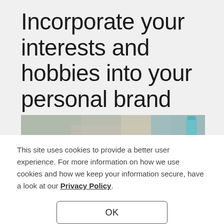Incorporate your interests and hobbies into your personal brand
[Figure (photo): Partial photograph showing hands on a rocky surface outdoors, with a teal/green water bottle visible at the right edge]
This site uses cookies to provide a better user experience. For more information on how we use cookies and how we keep your information secure, have a look at our Privacy Policy.
OK